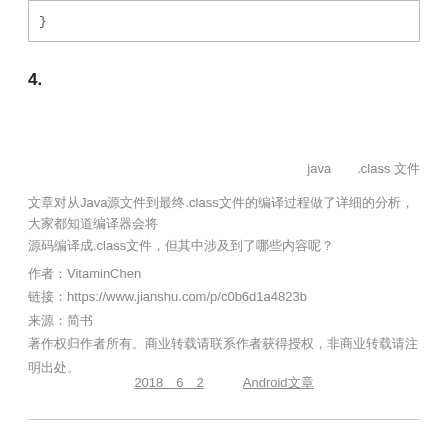}
4.
java　　.class 文件
文章对从Java源文件到最终.class文件的编译过程做了详细的分析，大家都知道编译器会将
源码编译成.class文件，但其中涉及到了哪些内容呢？
作者：VitaminChen
链接：https://www.jianshu.com/p/c0b6d1a4823b
来源：简书
著作权归作者所有。商业转载请联系作者获得授权，非商业转载请注明出处。
2018＿6＿2　　　Android文章